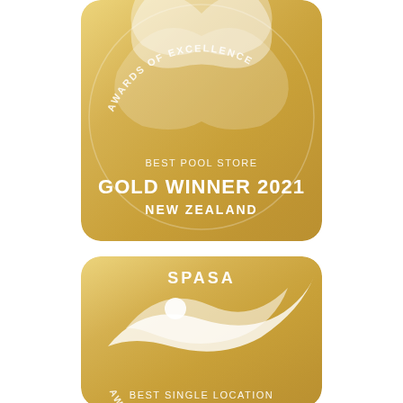[Figure (logo): SPASA Awards of Excellence badge - Gold Winner 2021 New Zealand - Best Pool Store. Gold metallic square badge with rounded corners showing SPASA logo (stylized figure with water wave) and text 'AWARDS OF EXCELLENCE' curved, 'BEST POOL STORE', 'GOLD WINNER 2021', 'NEW ZEALAND'.]
[Figure (logo): SPASA Awards of Excellence badge - Best Single Location. Gold metallic square badge with rounded corners showing SPASA logo (stylized figure with water wave and circle) and text 'AWARDS OF EXCELLENCE' curved, 'BEST SINGLE LOCATION'.]